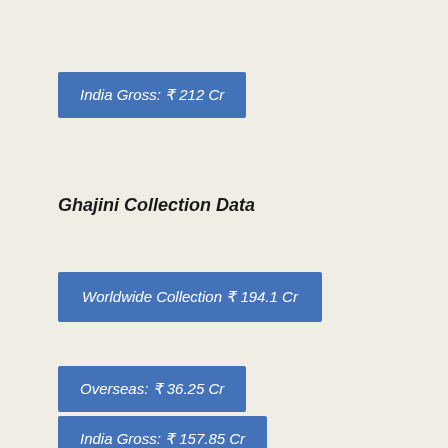India Gross: ₹ 212 Cr
Ghajini Collection Data
Worldwide Collection ₹ 194.1 Cr
Overseas: ₹ 36.25 Cr
India Gross: ₹ 157.85 Cr